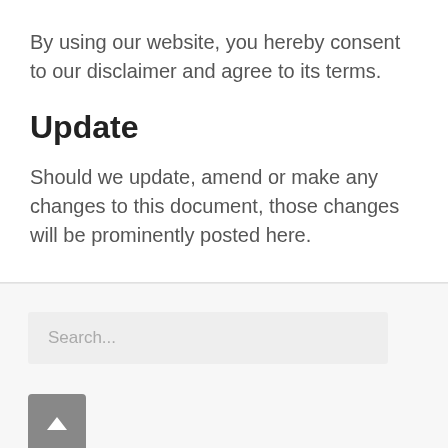By using our website, you hereby consent to our disclaimer and agree to its terms.
Update
Should we update, amend or make any changes to this document, those changes will be prominently posted here.